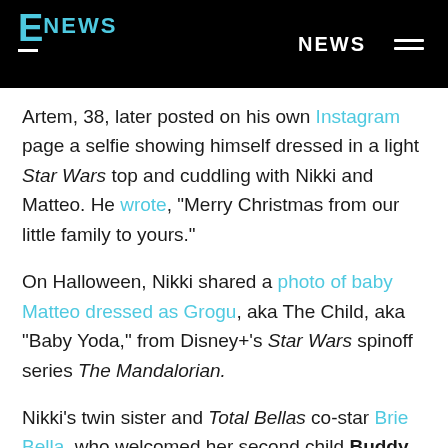E! NEWS — NEWS
Artem, 38, later posted on his own Instagram page a selfie showing himself dressed in a light Star Wars top and cuddling with Nikki and Matteo. He wrote, "Merry Christmas from our little family to yours."
On Halloween, Nikki shared a photo of baby Matteo dressed as Grogu, aka The Child, aka "Baby Yoda," from Disney+'s Star Wars spinoff series The Mandalorian.
Nikki's twin sister and Total Bellas co-star Brie Bella, who welcomed her second child Buddy Danielson a day after Nikki, also posted a sweet family pic on Christmas Day.